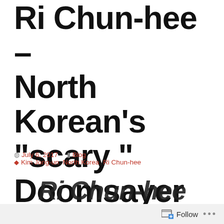Ri Chun-hee – North Korean's “scary ” Doomsayer
July 6, 2017 | Blog | Kim Jong-un, North Korea, Ri Chun-hee
[Figure (photo): Partial image of Ri Chun-hee text/photo, cropped at bottom of page]
Follow ...